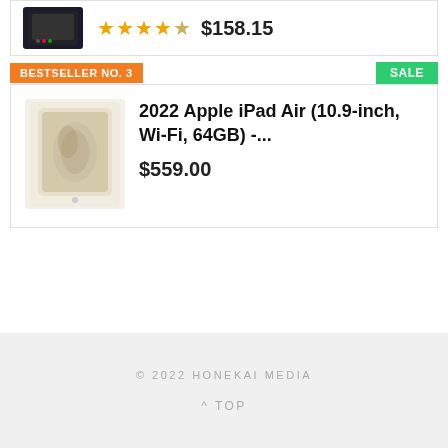[Figure (photo): Tablet device product thumbnail image]
$158.15
BESTSELLER NO. 3
SALE
[Figure (photo): 2022 Apple iPad Air product image in starlight color]
2022 Apple iPad Air (10.9-inch, Wi-Fi, 64GB) -...
$559.00
© 2022 HONEKAI MEDIA
^ TOP